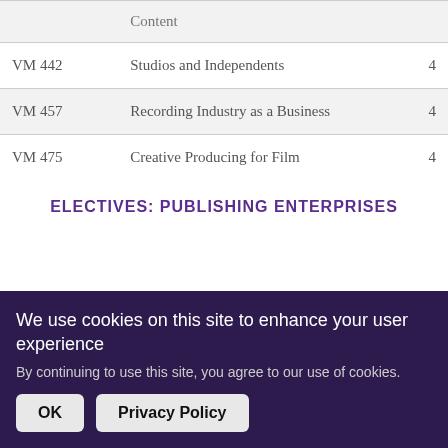|  | Content |  |
| --- | --- | --- |
| VM 442 | Studios and Independents | 4 |
| VM 457 | Recording Industry as a Business | 4 |
| VM 475 | Creative Producing for Film | 4 |
ELECTIVES: PUBLISHING ENTERPRISES
We use cookies on this site to enhance your user experience
By continuing to use this site, you agree to our use of cookies.